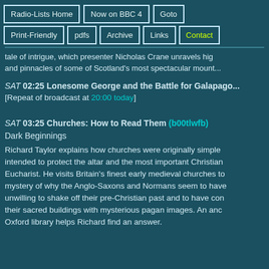Radio-Lists Home | Now on BBC 4 | Goto | Print-Friendly | pdfs | Archive | Links | Contact
tale of intrigue, which presenter Nicholas Crane unravels high and pinnacles of some of Scotland's most spectacular mount...
SAT 02:25 Lonesome George and the Battle for Galapago... [Repeat of broadcast at 20:00 today]
SAT 03:25 Churches: How to Read Them (b00tlwfb)
Dark Beginnings

Richard Taylor explains how churches were originally simple intended to protect the altar and the most important Christian Eucharist. He visits Britain's finest early medieval churches to mystery of why the Anglo-Saxons and Normans seem to have unwilling to shake off their pre-Christian past and to have con their sacred buildings with mysterious pagan images. An anc Oxford library helps Richard find an answer.